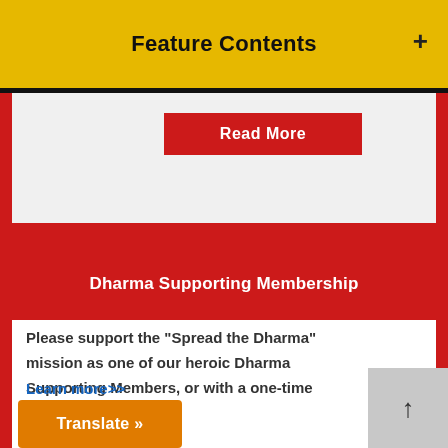Feature Contents
Read More
Dharma Supporting Membership
Please support the "Spread the Dharma" mission as one of our heroic Dharma Supporting Members, or with a one-time donation.
Learn more>>
Translate »